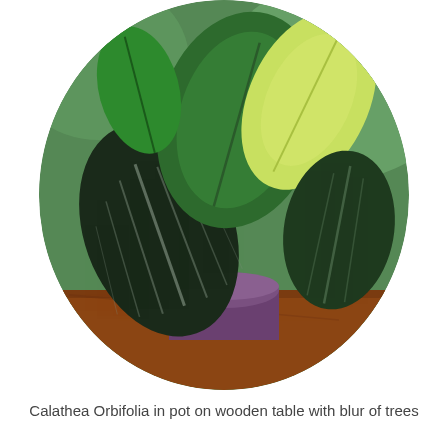[Figure (photo): Calathea Orbifolia plant in a pot on a wooden table, with blurred trees in the background. The image is cropped in a circular shape.]
Calathea Orbifolia in pot on wooden table with blur of trees
Rattlesnake Plant Care Basics: Knowing the Different Varieties